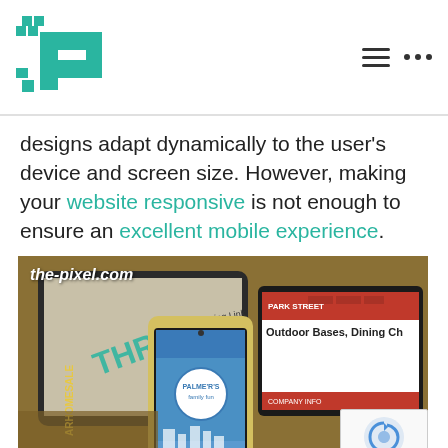[Figure (logo): The-Pixel.com company logo — a pixelated P letter in teal/green with small pixel squares]
designs adapt dynamically to the user's device and screen size. However, making your website responsive is not enough to ensure an excellent mobile experience.
[Figure (photo): Photo showing multiple mobile devices (smartphone and tablets) displaying websites, with watermark text 'the-pixel.com' in white italic bold, and a reCAPTCHA badge in the bottom-right corner]